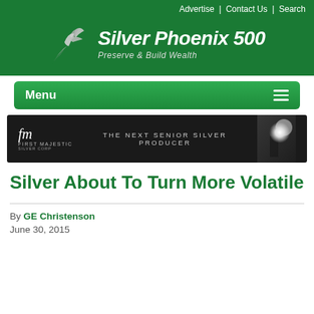Advertise | Contact Us | Search
[Figure (logo): Silver Phoenix 500 logo with phoenix bird illustration and tagline 'Preserve & Build Wealth' on dark green background]
[Figure (screenshot): Navigation menu bar with 'Menu' label and hamburger icon on green background]
[Figure (screenshot): First Majestic Silver Corp advertisement banner: 'THE NEXT SENIOR SILVER PRODUCER' on dark background]
Silver About To Turn More Volatile
By GE Christenson
June 30, 2015